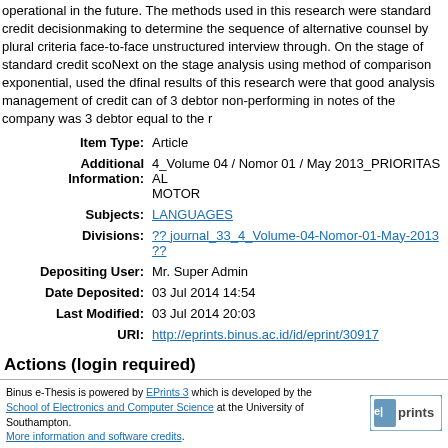operational in the future. The methods used in this research were standard credit decisionmaking to determine the sequence of alternative counsel by plural criteria face-to-face unstructured interview through. On the stage of standard credit scoring. Next on the stage analysis using method of comparison exponential, used the c... final results of this research were that good analysis management of credit can... of 3 debtor non-performing in notes of the company was 3 debtor equal to the r...
| Field | Value |
| --- | --- |
| Item Type: | Article |
| Additional Information: | 4_Volume 04 / Nomor 01 / May 2013_PRIORITAS AL MOTOR |
| Subjects: | LANGUAGES |
| Divisions: | ?? journal_33_4_Volume-04-Nomor-01-May-2013 ?? |
| Depositing User: | Mr. Super Admin |
| Date Deposited: | 03 Jul 2014 14:54 |
| Last Modified: | 03 Jul 2014 20:03 |
| URI: | http://eprints.binus.ac.id/id/eprint/30917 |
Actions (login required)
View Item
Binus e-Thesis is powered by EPrints 3 which is developed by the School of Electronics and Computer Science at the University of Southampton. More information and software credits.